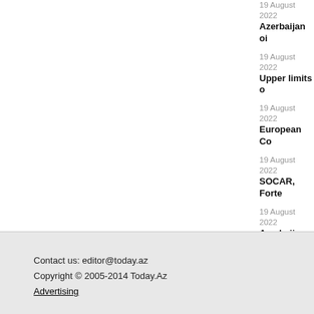19 August 2022
Azerbaijan oi...
19 August 2022
Upper limits o...
19 August 2022
European Co...
19 August 2022
SOCAR, Forte...
19 August 2022
Azerbaijan, J...
19 August 2022
Azerbaijan, G...
19 August 2022
Currency rate...
Contact us: editor@today.az
Copyright © 2005-2014 Today.Az
Advertising